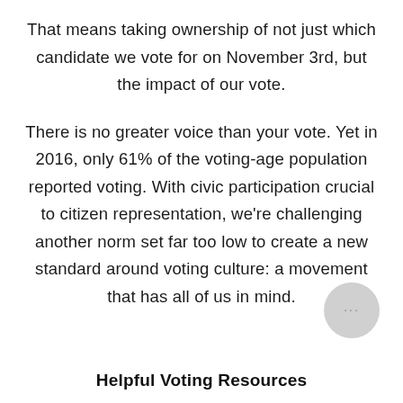That means taking ownership of not just which candidate we vote for on November 3rd, but the impact of our vote.
There is no greater voice than your vote. Yet in 2016, only 61% of the voting-age population reported voting. With civic participation crucial to citizen representation, we're challenging another norm set far too low to create a new standard around voting culture: a movement that has all of us in mind.
Helpful Voting Resources